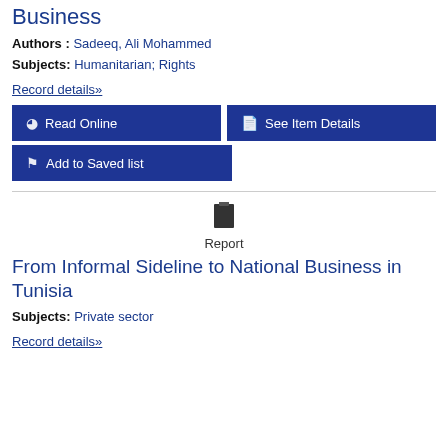Business
Authors : Sadeeq, Ali Mohammed
Subjects: Humanitarian; Rights
Record details»
Read Online
See Item Details
Add to Saved list
Report
From Informal Sideline to National Business in Tunisia
Subjects: Private sector
Record details»